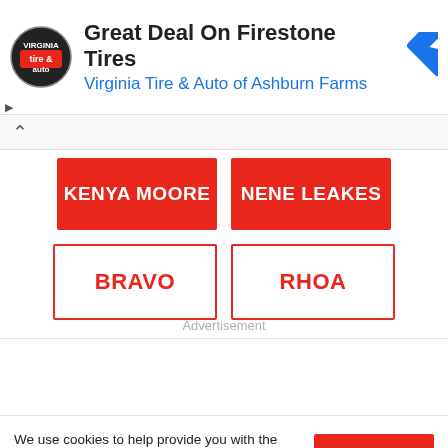[Figure (screenshot): Ad banner for Virginia Tire & Auto of Ashburn Farms featuring Firestone Tires deal, with circular logo and blue arrow diamond icon]
[Figure (infographic): Quiz-style interactive buttons with red filled buttons reading KENYA MOORE and NENE LEAKES, and red-outlined white buttons reading BRAVO and RHOA]
Advertisement
We use cookies to help provide you with the best possible online experience. Please read our Privacy Policy for information about which cookies we use and what information we collect on our site. By continuing to use this site, you agree that we may store and access cookies on your device.